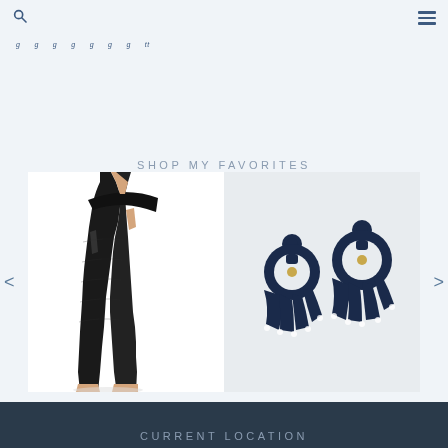Navigation bar with search and menu icons
navigation links (partially visible)
SHOP MY FAVORITES
[Figure (photo): Woman wearing black high-waist leggings with side pocket, full body shot on white background]
[Figure (photo): Navy blue fan-shaped tassel earrings pair on light gray background]
CURRENT LOCATION